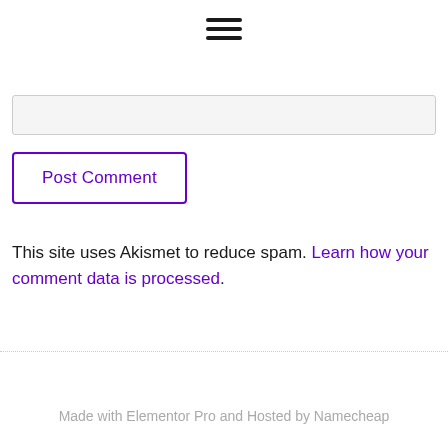[Figure (other): Hamburger menu icon with three horizontal lines]
[Figure (other): Text input field (partially visible, grey background)]
Post Comment
This site uses Akismet to reduce spam. Learn how your comment data is processed.
Made with Elementor Pro and Hosted by Namecheap